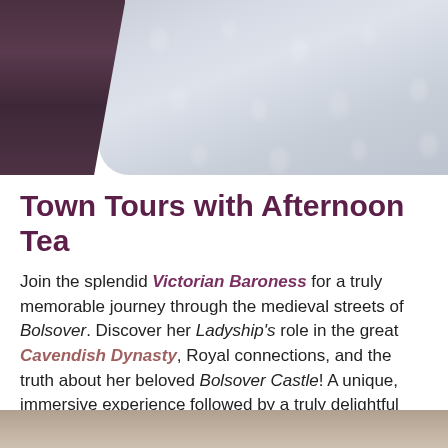[Figure (photo): Top portion of a fabric/textile image showing dark purple draped fabric on the left and light blue-grey lace or patterned fabric on the right.]
Town Tours with Afternoon Tea
Join the splendid Victorian Baroness for a truly memorable journey through the medieval streets of Bolsover. Discover her Ladyship's role in the great Cavendish Dynasty, Royal connections, and the truth about her beloved Bolsover Castle! A unique, immersive experience followed by a truly delightful Afternoon Tea.
[Figure (photo): Bottom partial image showing textured fabric or material, cropped at the bottom of the page.]